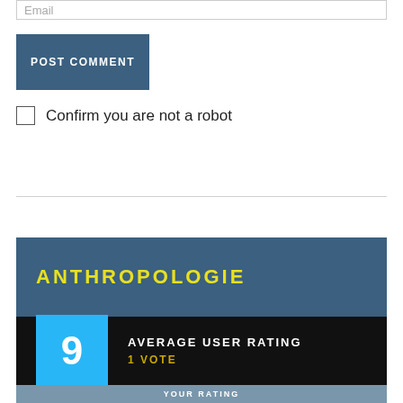EMAIL
POST COMMENT
Confirm you are not a robot
ANTHROPOLOGIE
AVERAGE USER RATING
1 VOTE
YOUR RATING